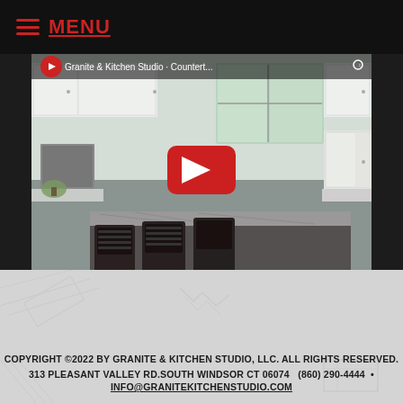MENU
[Figure (screenshot): YouTube video player showing a kitchen with granite countertops, white cabinets, dark bar chairs, and a large island. A red YouTube play button overlay is shown in the center. Video controls show 00:00 current time and 00:35 total duration.]
COPYRIGHT ©2022 BY GRANITE & KITCHEN STUDIO, LLC. ALL RIGHTS RESERVED. 313 PLEASANT VALLEY RD.SOUTH WINDSOR CT 06074   (860) 290-4444  •  INFO@GRANITEKITCHENSTUDIO.COM